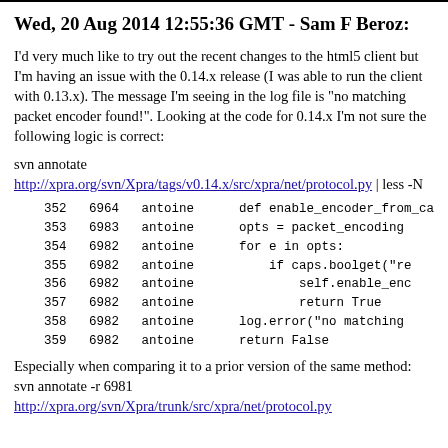Wed, 20 Aug 2014 12:55:36 GMT - Sam F Beroz:
I'd very much like to try out the recent changes to the html5 client but I'm having an issue with the 0.14.x release (I was able to run the client with 0.13.x). The message I'm seeing in the log file is "no matching packet encoder found!". Looking at the code for 0.14.x I'm not sure the following logic is correct:
svn annotate
http://xpra.org/svn/Xpra/tags/v0.14.x/src/xpra/net/protocol.py | less -N
352  6964  antoine    def enable_encoder_from_ca
353  6983  antoine    opts = packet_encoding
354  6982  antoine    for e in opts:
355  6982  antoine        if caps.boolget("re
356  6982  antoine            self.enable_enc
357  6982  antoine            return True
358  6982  antoine    log.error("no matching
359  6982  antoine    return False
Especially when comparing it to a prior version of the same method: svn annotate -r 6981
http://xpra.org/svn/Xpra/trunk/src/xpra/net/protocol.py